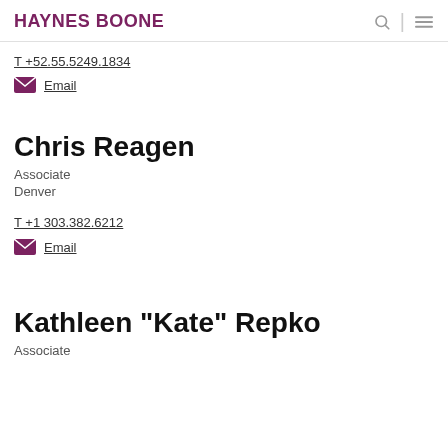HAYNES BOONE
T +52.55.5249.1834
Email
Chris Reagen
Associate
Denver
T +1 303.382.6212
Email
Kathleen "Kate" Repko
Associate